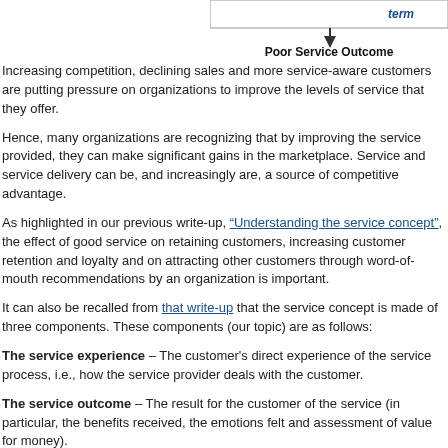[Figure (flowchart): Diagram top fragment showing an arrow pointing down to a box labeled 'term' in blue italic, above a label 'Poor Service Outcome']
Increasing competition, declining sales and more service-aware customers are putting pressure on organizations to improve the levels of service that they offer.
Hence, many organizations are recognizing that by improving the service provided, they can make significant gains in the marketplace. Service and service delivery can be, and increasingly are, a source of competitive advantage.
As highlighted in our previous write-up, "Understanding the service concept", the effect of good service on retaining customers, increasing customer retention and loyalty and on attracting other customers through word-of-mouth recommendations by an organization is important.
It can also be recalled from that write-up that the service concept is made of three components. These components (our topic) are as follows:
The service experience – The customer's direct experience of the service process, i.e., how the service provider deals with the customer.
The service outcome – The result for the customer of the service (in particular, the benefits received, the emotions felt and assessment of value for money).
For example, if a patient undergoes an eye operation he or she should be able to enjoy better eyesight. This is an example of service outcome. How courteous the doctors and nurses were, the hospital environment, and so on, would be the service experience.